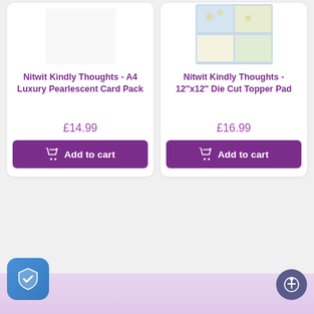[Figure (screenshot): Product listing page showing two craft paper products: Nitwit Kindly Thoughts A4 Luxury Pearlescent Card Pack at £14.99 and Nitwit Kindly Thoughts 12x12 Die Cut Topper Pad at £16.99, each with an Add to cart button. Bottom shows a security badge icon and accessibility button.]
Nitwit Kindly Thoughts - A4 Luxury Pearlescent Card Pack
£14.99
Nitwit Kindly Thoughts - 12"x12" Die Cut Topper Pad
£16.99